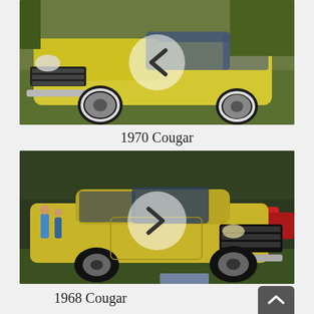[Figure (photo): Yellow 1970 Mercury Cougar photographed from front-left angle on grass, with a circular navigation arrow (left/back chevron) overlay in the center of the image.]
1970 Cougar
[Figure (photo): Yellow 1968 Mercury Cougar photographed at a car show on grass with other classic cars visible in background, with a circular navigation arrow (right/forward chevron) overlay in the center of the image.]
1968 Cougar